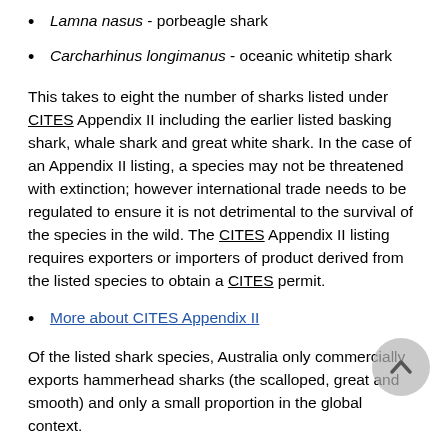Lamna nasus - porbeagle shark
Carcharhinus longimanus - oceanic whitetip shark
This takes to eight the number of sharks listed under CITES Appendix II including the earlier listed basking shark, whale shark and great white shark. In the case of an Appendix II listing, a species may not be threatened with extinction; however international trade needs to be regulated to ensure it is not detrimental to the survival of the species in the wild. The CITES Appendix II listing requires exporters or importers of product derived from the listed species to obtain a CITES permit.
More about CITES Appendix II
Of the listed shark species, Australia only commercially exports hammerhead sharks (the scalloped, great and smooth) and only a small proportion in the global context.
Prior to approving a commercial export permit CITES